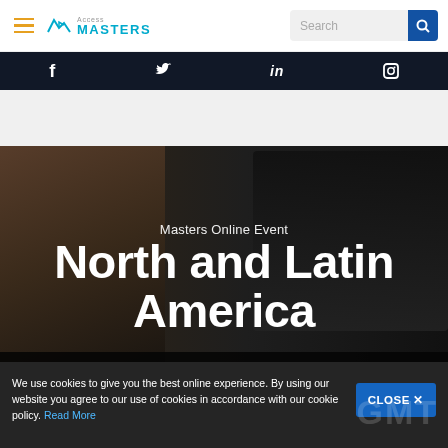Access MASTERS — navigation bar with hamburger menu and search
[Figure (screenshot): Social media icons bar: Facebook, Twitter, LinkedIn, Instagram on dark background]
[Figure (photo): Hero banner with woman wearing glasses looking at a monitor, dark overlay, Masters Online Event heading]
Masters Online Event
North and Latin America
We use cookies to give you the best online experience. By using our website you agree to our use of cookies in accordance with our cookie policy. Read More